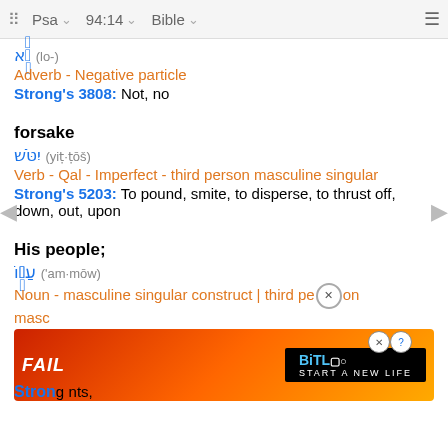⠿ Psa ∨  94:14 ∨  Bible ∨  ≡
לֹא (lo-)
Adverb - Negative particle
Strong's 3808: Not, no
forsake
יִטֹּשׁ (yiṭ·ṭōš)
Verb - Qal - Imperfect - third person masculine singular
Strong's 5203: To pound, smite, to disperse, to thrust off, down, out, upon
His people;
עַמּוֹ ('am·mōw)
Noun - masculine singular construct | third person masculine
Strong's 5971: A people, a tribe, troops, attendants,